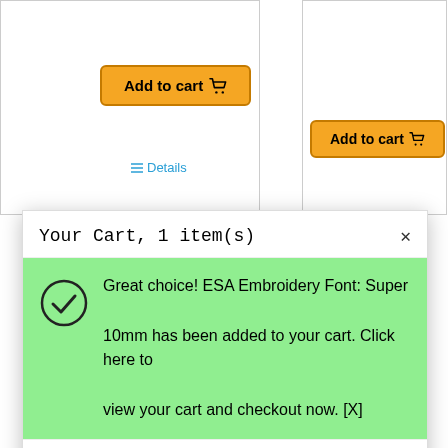[Figure (screenshot): Add to cart button (left product) with shopping cart icon]
[Figure (screenshot): Add to cart button (right product) with shopping cart icon]
≡ Details
Your Cart, 1 item(s)
Great choice! ESA Embroidery Font: Super 10mm has been added to your cart. Click here to view your cart and checkout now. [X]
[Figure (illustration): Embroidery font preview showing SUPER 10MM alphabet, digits and special characters in teal bubble letters]
ESA $9.95
Embroidery Font: Super 10mm
ESA